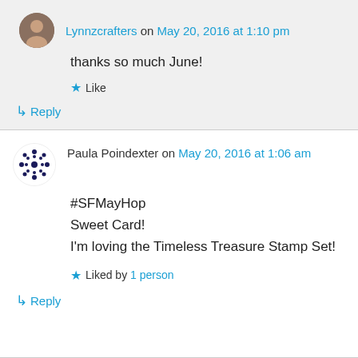Lynnzcrafters on May 20, 2016 at 1:10 pm
thanks so much June!
Like
Reply
Paula Poindexter on May 20, 2016 at 1:06 am
#SFMayHop
Sweet Card!
I'm loving the Timeless Treasure Stamp Set!
Liked by 1 person
Reply